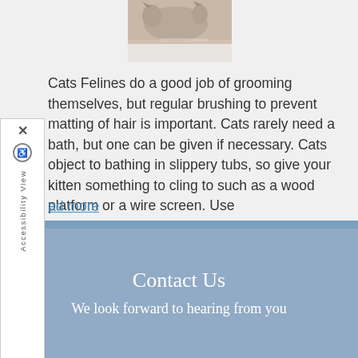[Figure (photo): Photo of a cat in a bathtub or sink, viewed from above, partially cropped]
Cats Felines do a good job of grooming themselves, but regular brushing to prevent matting of hair is important. Cats rarely need a bath, but one can be given if necessary. Cats object to bathing in slippery tubs, so give your kitten something to cling to such as a wood platform or a wire screen. Use
ad more
Contact Us
We look forward to hearing from you